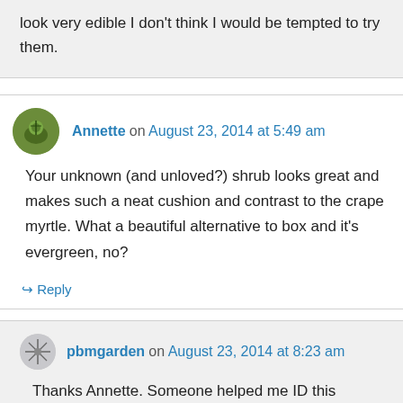look very edible I don't think I would be tempted to try them.
Annette on August 23, 2014 at 5:49 am
Your unknown (and unloved?) shrub looks great and makes such a neat cushion and contrast to the crape myrtle. What a beautiful alternative to box and it's evergreen, no?
↳ Reply
pbmgarden on August 23, 2014 at 8:23 am
Thanks Annette. Someone helped me ID this (underappreciated?) shrub as 'Carissa'